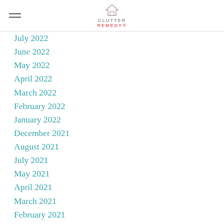CLUTTER REMEDY
July 2022
June 2022
May 2022
April 2022
March 2022
February 2022
January 2022
December 2021
August 2021
July 2021
May 2021
April 2021
March 2021
February 2021
January 2021
December 2020
September 2020
August 2020